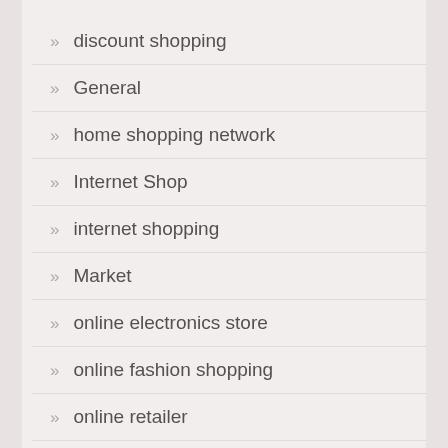discount shopping
General
home shopping network
Internet Shop
internet shopping
Market
online electronics store
online fashion shopping
online retailer
Online Shop
online shopping
online stores